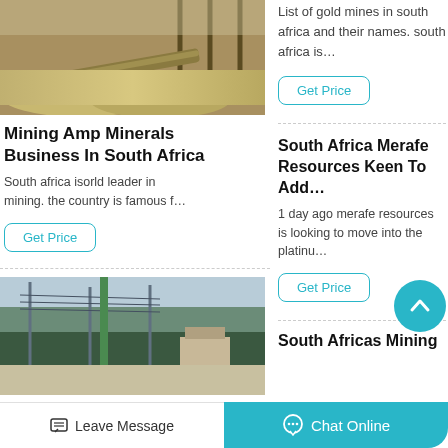[Figure (photo): Mining site with gravel/ore processing equipment and conveyor]
Mining Amp Minerals Business In South Africa
South africa isorld leader in mining. the country is famous f…
Get Price
List of gold mines in south africa and their names. south africa is…
Get Price
South Africa Merafe Resources Keen To Add…
1 day ago merafe resources is looking to move into the platinu…
Get Price
[Figure (photo): Mining infrastructure with power lines and green forested hillside]
South Africas Mining
Leave Message
Chat Online